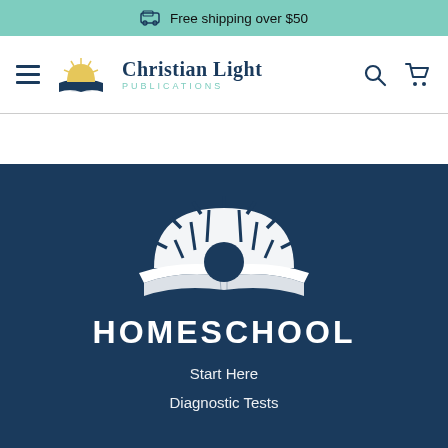Free shipping over $50
[Figure (logo): Christian Light Publications logo with sun rising over open book, hamburger menu, search icon, and cart icon in navigation bar]
[Figure (logo): Large white Christian Light Publications sun-over-book logo centered on dark navy blue hero background]
HOMESCHOOL
Start Here
Diagnostic Tests